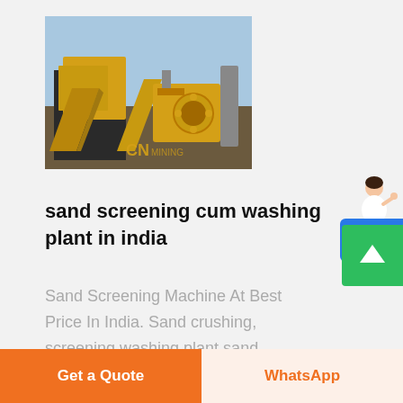[Figure (photo): Yellow heavy sand screening and washing plant machinery at an industrial site with blue sky background, watermarked with 'CN']
sand screening cum washing plant in india
Sand Screening Machine At Best Price In India. Sand crushing, screening washing plant sand
[Figure (other): Chat assistant widget with avatar and 'Free chat' button]
[Figure (other): Green scroll-to-top button with upward arrow]
Get a Quote | WhatsApp